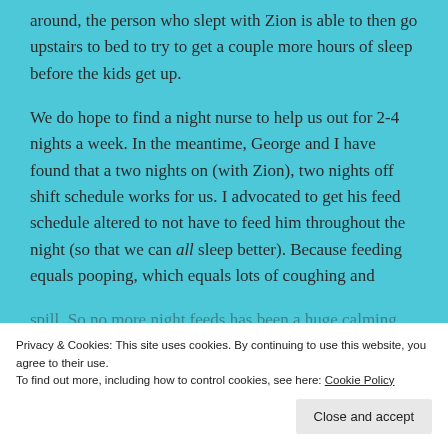around, the person who slept with Zion is able to then go upstairs to bed to try to get a couple more hours of sleep before the kids get up.
We do hope to find a night nurse to help us out for 2-4 nights a week. In the meantime, George and I have found that a two nights on (with Zion), two nights off shift schedule works for us. I advocated to get his feed schedule altered to not have to feed him throughout the night (so that we can all sleep better). Because feeding equals pooping, which equals lots of coughing and
spill. So no more night feeds has been a huge calming
Privacy & Cookies: This site uses cookies. By continuing to use this website, you agree to their use.
To find out more, including how to control cookies, see here: Cookie Policy